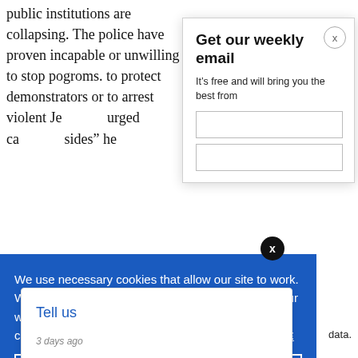public institutions are collapsing. The police have proven incapable or unwilling to stop pogroms. to protect demonstrators or to arrest violent Je... urged ca... sides" he...
Get our weekly email
It's free and will bring you the best from
We use necessary cookies that allow our site to work. We also set optional cookies that help us improve our website. For more information about the types of cookies we use. READ OUR COOKIES POLICY HERE
COOKIE
ALLOW
S
Tell us
3 days ago
data.
g